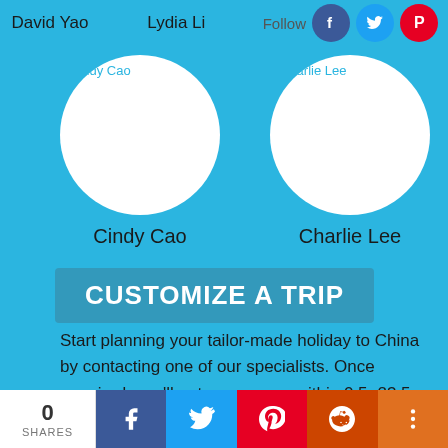David Yao
Lydia Li
Hellen He
Follow
[Figure (photo): Cindy Cao profile avatar circle]
Cindy Cao
[Figure (photo): Charlie Lee profile avatar circle]
Charlie Lee
CUSTOMIZE A TRIP
Start planning your tailor-made holiday to China by contacting one of our specialists. Once enquired, you'll get a response within 0.5~23.5 hours.
CUSTOMIZE A TRIP
0
SHARES